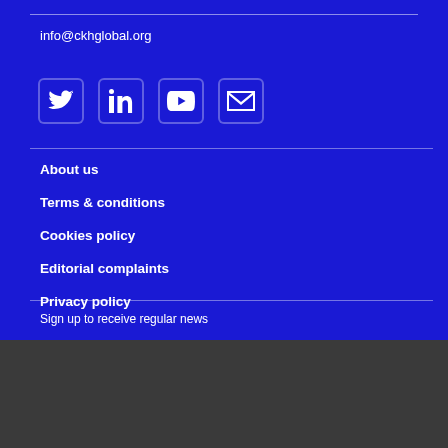info@ckhglobal.org
[Figure (illustration): Social media icons: Twitter, LinkedIn, YouTube, Email]
About us
Terms & conditions
Cookies policy
Editorial complaints
Privacy policy
Sign up to receive regular news
Life Sciences Knowledge Hub uses cookies to ensure that we give you the best experience on our website. If you continue in using the site we assume that you consent to receive all cookies on our website.